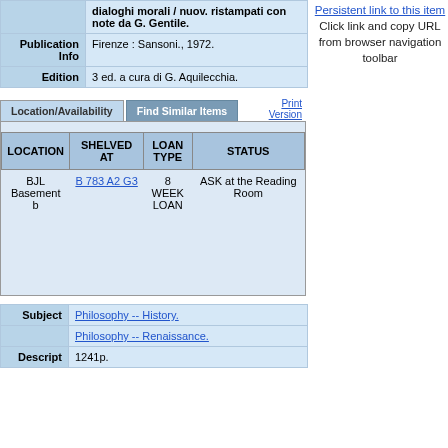| Field | Value |
| --- | --- |
|  | dialoghi morali / nuov. ristampati con note da G. Gentile. |
| Publication Info | Firenze : Sansoni., 1972. |
| Edition | 3 ed. a cura di G. Aquilecchia. |
Persistent link to this item
Click link and copy URL from browser navigation toolbar
| LOCATION | SHELVED AT | LOAN TYPE | STATUS |
| --- | --- | --- | --- |
| BJL Basement b | B 783 A2 G3 | 8 WEEK LOAN | ASK at the Reading Room |
| Subject/Descript | Value |
| --- | --- |
| Subject | Philosophy -- History. |
|  | Philosophy -- Renaissance. |
| Descript | 1241p. |